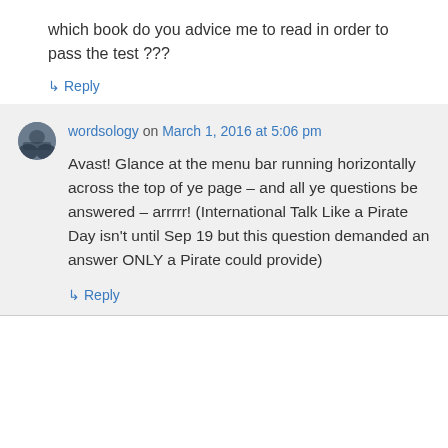which book do you advice me to read in order to pass the test ???
↳ Reply
wordsology on March 1, 2016 at 5:06 pm
Avast! Glance at the menu bar running horizontally across the top of ye page – and all ye questions be answered – arrrrr! (International Talk Like a Pirate Day isn't until Sep 19 but this question demanded an answer ONLY a Pirate could provide)
↳ Reply